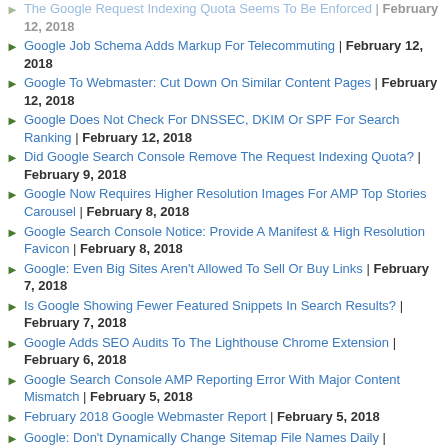The Google Request Indexing Quota Seems To Be Enforced | February 12, 2018
Google Job Schema Adds Markup For Telecommuting | February 12, 2018
Google To Webmaster: Cut Down On Similar Content Pages | February 12, 2018
Google Does Not Check For DNSSEC, DKIM Or SPF For Search Ranking | February 12, 2018
Did Google Search Console Remove The Request Indexing Quota? | February 9, 2018
Google Now Requires Higher Resolution Images For AMP Top Stories Carousel | February 8, 2018
Google Search Console Notice: Provide A Manifest & High Resolution Favicon | February 8, 2018
Google: Even Big Sites Aren't Allowed To Sell Or Buy Links | February 7, 2018
Is Google Showing Fewer Featured Snippets In Search Results? | February 7, 2018
Google Adds SEO Audits To The Lighthouse Chrome Extension | February 6, 2018
Google Search Console AMP Reporting Error With Major Content Mismatch | February 5, 2018
February 2018 Google Webmaster Report | February 5, 2018
Google: Don't Dynamically Change Sitemap File Names Daily | February 5, 2018
PSA: Google Doesn't Use Content On Non-Canonical Pages | February 2, 2018
Google Search Console Issues & Validating Email Notifications | February 2, 2018
Ranking Vs Indexing: The Google SEO Confusion | February 1, 2018
Ranking In Google By Aligning Content Around Searcher Intent | February 1, 2018
What To Do When Your Google Disavow List Is Maxed Out | February 1, 2018